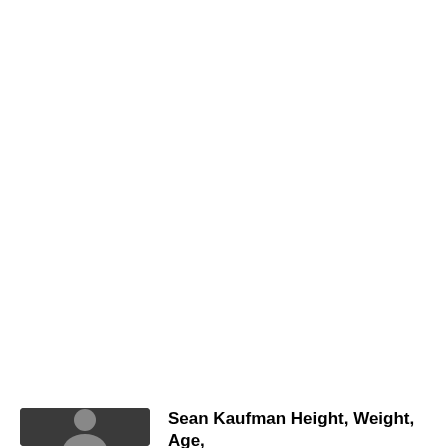Recent Articles
[Figure (photo): Thumbnail photo of Sean Kaufman, a person shown from shoulders up against a dark background]
Sean Kaufman Height, Weight, Age,